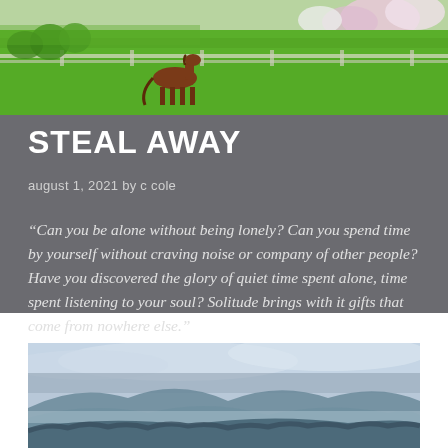[Figure (photo): Pastoral scene with a brown horse standing on a bright green field, flowering trees in background, white fence visible, taken from a distance]
STEAL AWAY
august 1, 2021 by c cole
“Can you be alone without being lonely? Can you spend time by yourself without craving noise or company of other people? Have you discovered the glory of quiet time spent alone, time spent listening to your soul? Solitude brings with it gifts that come from nowhere else.”
[Figure (photo): Misty mountain landscape with blue-green rolling hills covered in fog, cloudy sky above, serene and atmospheric]